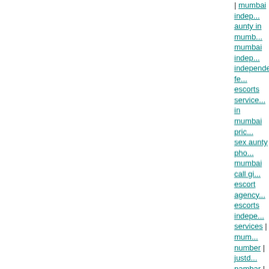| mumbai indep... | aunty in mumb... | mumbai indep... | independent fe... | escorts service... | in mumbai pric... | sex aunty pho... | mumbai call gi... | escort agency... | escorts indepe... services | mum... number | justd... nambar | sex s... mumbai | hot a... mumbai prosti... girls | hot aunt... | escort girls in... | callgirls near... girl | aunty for... in mumbai | ho... prostitution rat... independent c... mumbai auntie... photos | mumb... aunties hot | m...